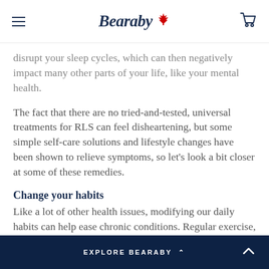Bearaby
disrupt your sleep cycles, which can then negatively impact many other parts of your life, like your mental health.
The fact that there are no tried-and-tested, universal treatments for RLS can feel disheartening, but some simple self-care solutions and lifestyle changes have been shown to relieve symptoms, so let's look a bit closer at some of these remedies.
Change your habits
Like a lot of other health issues, modifying our daily habits can help ease chronic conditions. Regular exercise, maintaining a healthy sleep pattern (our weighted blankets can certainly help with that!), and
EXPLORE BEARABY